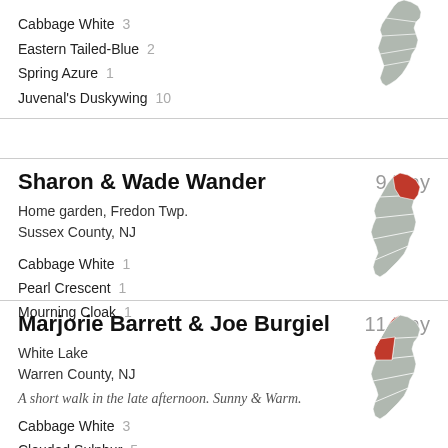Cabbage White 3
Eastern Tailed-Blue 2
Spring Azure 1
Juvenal's Duskywing 10
[Figure (map): Outline map of New Jersey showing county boundaries, grey fill, no highlighted county]
Sharon & Wade Wander
9 May
Home garden, Fredon Twp.
Sussex County, NJ
Cabbage White 1
Pearl Crescent 1
Mourning Cloak 1
[Figure (map): Outline map of New Jersey with Sussex County (top-left) highlighted in red]
Marjorie Barrett & Joe Burgiel
11 May
White Lake
Warren County, NJ
A short walk in the late afternoon. Sunny & Warm.
Cabbage White 3
Clouded Sulphur 5
[Figure (map): Outline map of New Jersey with Warren County (upper-left) highlighted in red]